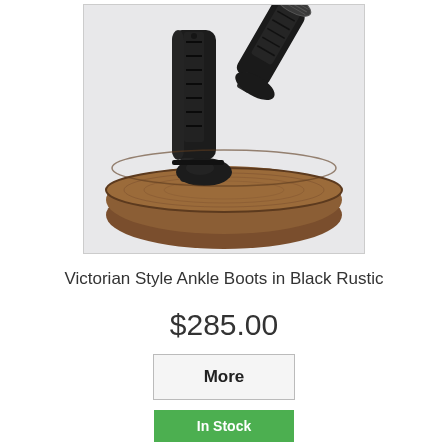[Figure (photo): Product photo of Victorian Style Ankle Boots in Black Rustic — a pair of black leather lace-up ankle boots with a small heel, displayed on a round wooden surface. One boot stands upright showing the front lacing, the other is tipped to show the rubber sole.]
Victorian Style Ankle Boots in Black Rustic
$285.00
More
In Stock